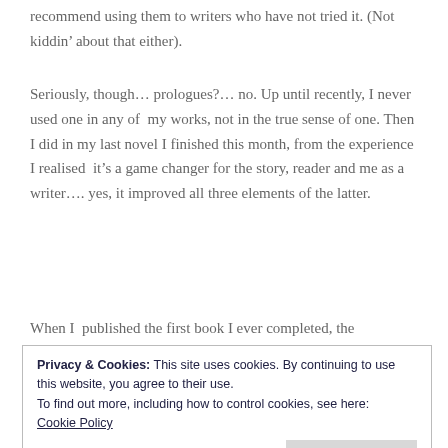recommend using them to writers who have not tried it. (Not kiddin’ about that either).
Seriously, though… prologues?… no. Up until recently, I never used one in any of  my works, not in the true sense of one. Then I did in my last novel I finished this month, from the experience I realised  it’s a game changer for the story, reader and me as a writer…. yes, it improved all three elements of the latter.
When I  published the first book I ever completed, the
Privacy & Cookies: This site uses cookies. By continuing to use this website, you agree to their use.
To find out more, including how to control cookies, see here:
Cookie Policy
at the time. So I went with it, it really made no